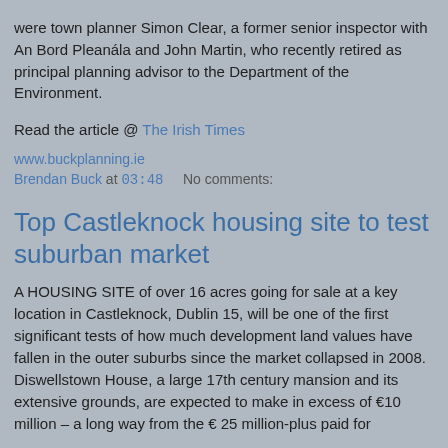were town planner Simon Clear, a former senior inspector with An Bord Pleanála and John Martin, who recently retired as principal planning advisor to the Department of the Environment.
Read the article @ The Irish Times
www.buckplanning.ie
Brendan Buck at 03:48    No comments:
Top Castleknock housing site to test suburban market
A HOUSING SITE of over 16 acres going for sale at a key location in Castleknock, Dublin 15, will be one of the first significant tests of how much development land values have fallen in the outer suburbs since the market collapsed in 2008. Diswellstown House, a large 17th century mansion and its extensive grounds, are expected to make in excess of €10 million – a long way from the € 25 million-plus paid for